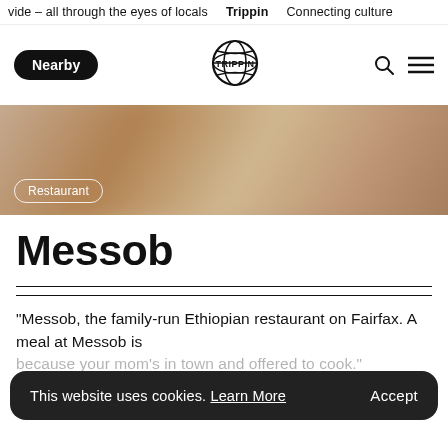vide – all through the eyes of locals  Trippin  Connecting culture
Nearby [logo: TRIPPIN] [search icon] [menu icon]
[Figure (photo): Blurred hero photo of food with a 'Restaurant' badge overlay in bottom left]
Messob
“Messob, the family-run Ethiopian restaurant on Fairfax. A meal at Messob is because your mom’s in town and offered to cook.”
This website uses cookies. Learn More  Accept